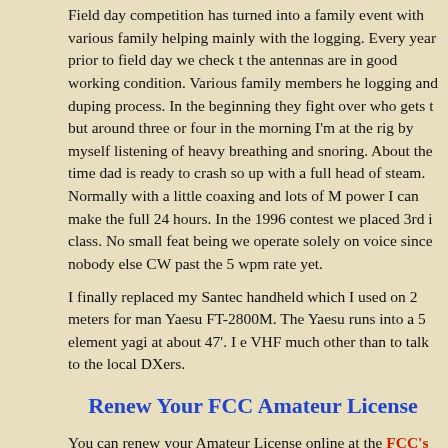Field day competition has turned into a family event with various family helping mainly with the logging. Every year prior to field day we check the antennas are in good working condition. Various family members help logging and duping process. In the beginning they fight over who gets to but around three or four in the morning I'm at the rig by myself listening of heavy breathing and snoring. About the time dad is ready to crash so up with a full head of steam. Normally with a little coaxing and lots of M power I can make the full 24 hours. In the 1996 contest we placed 3rd i class. No small feat being we operate solely on voice since nobody else CW past the 5 wpm rate yet.
I finally replaced my Santec handheld which I used on 2 meters for ma Yaesu FT-2800M. The Yaesu runs into a 5 element yagi at about 47'. I VHF much other than to talk to the local DXers.
Renew Your FCC Amateur License
You can renew your Amateur License online at the FCC's web site. Be your license online you will need your FCC Registration Number (FRN) password. If you don't remember your FRN you can find it by doing a s call in the Buckmaster call lookup below. Currently there is no charge fo your license if you do it directly through the FCC's web site. Licenses m renewed up to 90 days in advance. The online renewal process is really and straight forward if you know your FRN and password. If you wish to mail you can print the application from the FCC's web site.
Check the Status of Your Renewal
You can check the status of your electronic renewal by going to the FC